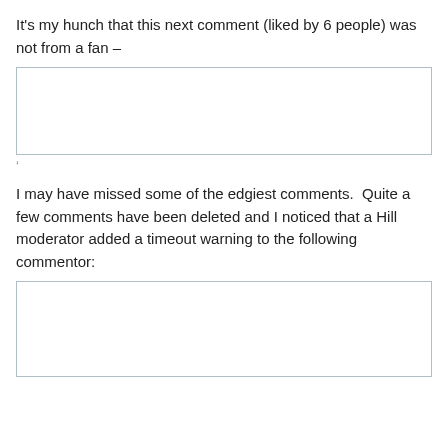It's my hunch that this next comment (liked by 6 people) was not from a fan –
[Figure (screenshot): Empty bordered comment box]
‘
I may have missed some of the edgiest comments.  Quite a few comments have been deleted and I noticed that a Hill moderator added a timeout warning to the following commentor:
[Figure (screenshot): Empty bordered comment box]